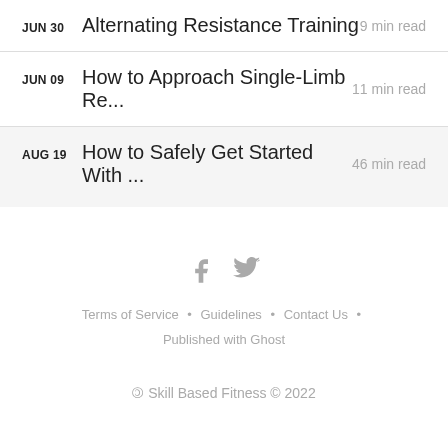JUN 30  Alternating Resistance Training  9 min read
JUN 09  How to Approach Single-Limb Re...  11 min read
AUG 19  How to Safely Get Started With ...  46 min read
Terms of Service • Guidelines • Contact Us • Published with Ghost
🄯 Skill Based Fitness © 2022